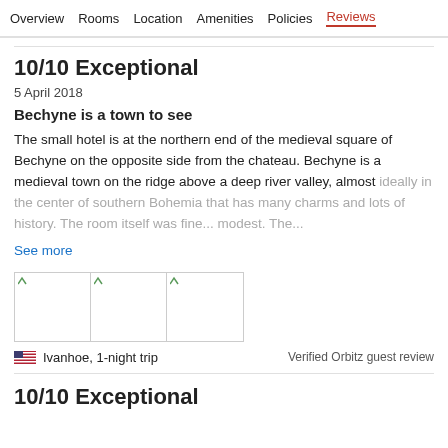Overview  Rooms  Location  Amenities  Policies  Reviews
10/10 Exceptional
5 April 2018
Bechyne is a town to see
The small hotel is at the northern end of the medieval square of Bechyne on the opposite side from the chateau. Bechyne is a medieval town on the ridge above a deep river valley, almost ideally in the center of southern Bohemia that has many charms and lots of history. The room itself was fine... modest. The...
See more
[Figure (photo): Three hotel/location photos in a row]
Ivanhoe, 1-night trip
Verified Orbitz guest review
10/10 Exceptional